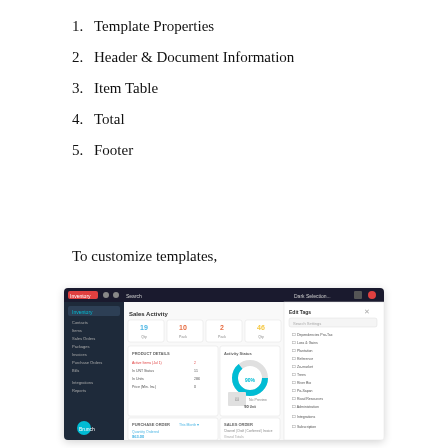1. Template Properties
2. Header & Document Information
3. Item Table
4. Total
5. Footer
To customize templates,
[Figure (screenshot): Screenshot of Zoho Inventory application dashboard showing Sales Activity with metrics (19, 10, 2, 46), product details, purchase orders panel, and a settings panel on the right side with various options like Dependencies, Loss & Gains, Plantation, Reference, Zo-market, Trees, River Bio, Po-Sapan, Road Resources, Administration, Integrations, Subscription.]